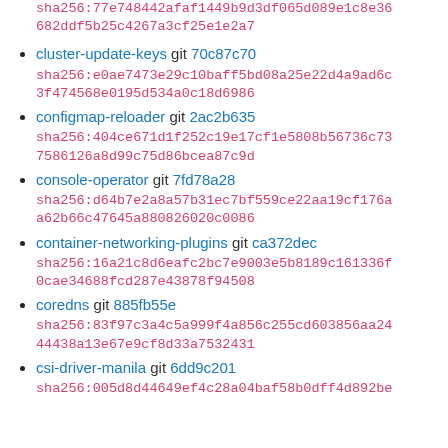sha256:77e748442afaf1449b9d3df065d089e1c8e36682ddf5b25c4267a3cf25e1e2a7
cluster-update-keys git 70c87c70
sha256:e0ae7473e29c10baff5bd08a25e22d4a9ad6c3f474568e0195d534a0c18d6986
configmap-reloader git 2ac2b635
sha256:404ce671d1f252c19e17cf1e5808b56736c737586126a8d99c75d86bcea87c9d
console-operator git 7fd78a28
sha256:d64b7e2a8a57b31ec7bf559ce22aa19cf176aa62b66c47645a880826020c0086
container-networking-plugins git ca372dec
sha256:16a21c8d6eafc2bc7e9003e5b8189c161336f0cae34688fcd287e43878f94508
coredns git 885fb55e
sha256:83f97c3a4c5a999f4a856c255cd603856aa2444438a13e67e9cf8d33a7532431
csi-driver-manila git 6dd9c201
sha256:005d8d44649ef4c28a04baf58b0dff4d892be...